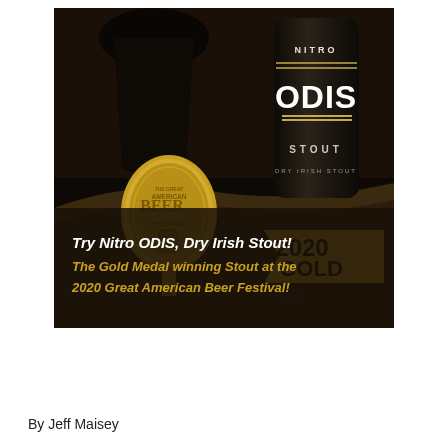[Figure (photo): Advertisement for Nitro ODIS Dry Irish Stout showing a dark beer in a glass and a black can with 'NITRO ODIS STOUT' label, alongside a gold medal from the Great American Beer Festival 2020 Gold award in the Stout category. Text overlay reads: 'Try Nitro ODIS, Dry Irish Stout! The Gold Medal winning Stout at the 2020 Great American Beer Festival!']
By Jeff Maisey